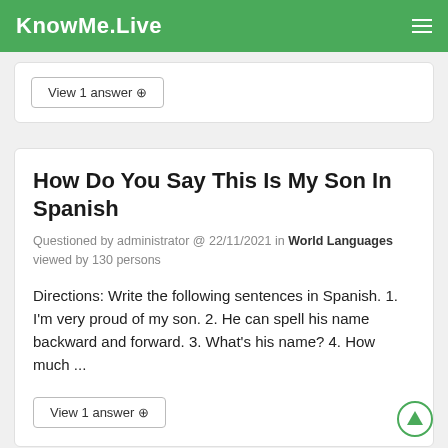KnowMe.Live
View 1 answer
How Do You Say This Is My Son In Spanish
Questioned by administrator @ 22/11/2021 in World Languages viewed by 130 persons
Directions: Write the following sentences in Spanish. 1. I'm very proud of my son. 2. He can spell his name backward and forward. 3. What's his name? 4. How much ...
View 1 answer